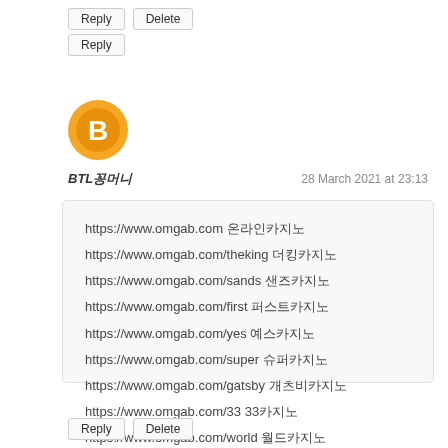[Figure (other): Blogger user avatar icon - orange circle with white blogger 'B' logo]
BTL꽁머니 | 28 March 2021 at 23:13
https://www.omgab.com 온라인카지노
https://www.omgab.com/theking 더킹카지노
https://www.omgab.com/sands 샌즈카지노
https://www.omgab.com/first 퍼스트카지노
https://www.omgab.com/yes 예스카지노
https://www.omgab.com/super 슈퍼카지노
https://www.omgab.com/gatsby 개츠비카지노
https://www.omgab.com/33 33카지노
https://www.omgab.com/world 월드카지노
https://www.omgab.com/merit 메리트카지노